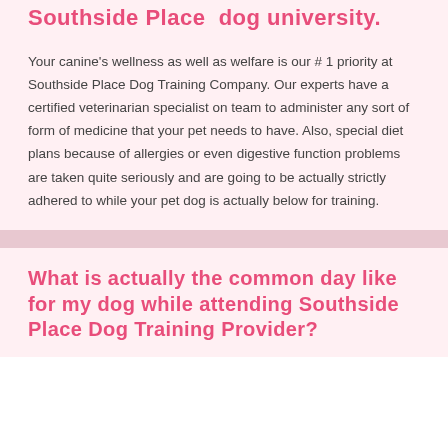Southside Place  dog university.
Your canine's wellness as well as welfare is our # 1 priority at Southside Place Dog Training Company. Our experts have a certified veterinarian specialist on team to administer any sort of form of medicine that your pet needs to have. Also, special diet plans because of allergies or even digestive function problems are taken quite seriously and are going to be actually strictly adhered to while your pet dog is actually below for training.
What is actually the common day like for my dog while attending Southside Place Dog Training Provider?